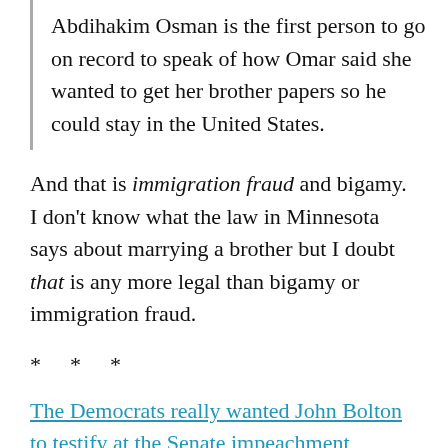Abdihakim Osman is the first person to go on record to speak of how Omar said she wanted to get her brother papers so he could stay in the United States.
And that is immigration fraud and bigamy. I don't know what the law in Minnesota says about marrying a brother but I doubt that is any more legal than bigamy or immigration fraud.
* * *
The Democrats really wanted John Bolton to testify at the Senate impeachment hearings but they didn't want his testimony badly enough to call him as a witness during